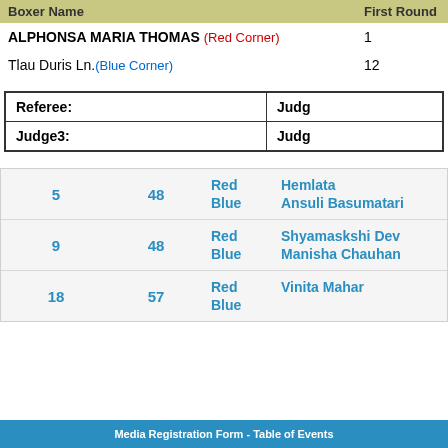| Boxer Name | First Round |
| --- | --- |
| ALPHONSA MARIA THOMAS (Red Corner) | 1 |
| Tlau Duris Ln.(Blue Corner) | 12 |
| Referee: | Judge |
| Judge3: | Judge |
| 5 | 48 | Red
Blue | Hemlata
Ansuli Basumatari |
| 9 | 48 | Red
Blue | Shyamaskshi Devi
Manisha Chauhan |
| 18 | 57 | Red
Blue | Vinita Mahar
 |
Media Registration Form - Table of Events